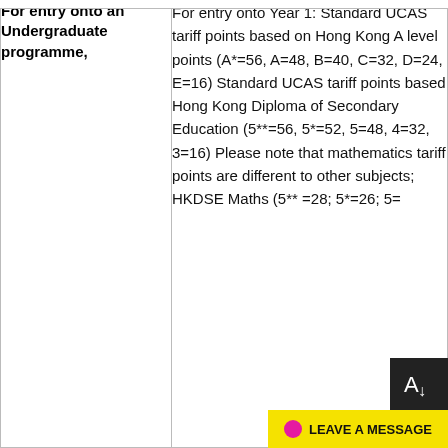| For entry onto an Undergraduate programme, | For entry onto Year 1: Standard UCAS tariff points based on Hong Kong A level points (A*=56, A=48, B=40, C=32, D=24, E=16) Standard UCAS tariff points based Hong Kong Diploma of Secondary Education (5**=56, 5*=52, 5=48, 4=32, 3=16) Please note that mathematics tariff points are different to other subjects; HKDSE Maths (5** =28; 5*=26; 5=... |